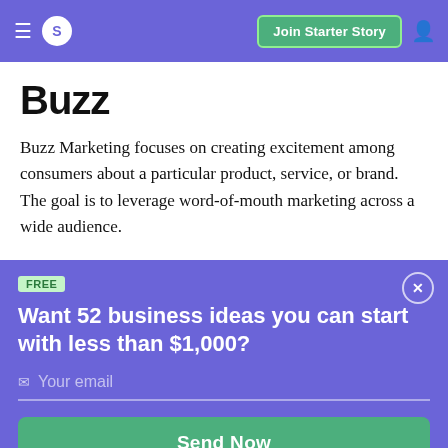S  Join Starter Story
Buzz
Buzz Marketing focuses on creating excitement among consumers about a particular product, service, or brand. The goal is to leverage word-of-mouth marketing across a wide audience.
FREE
Want 52 business ideas you can start with less than $1,000?
Your email
Send Now